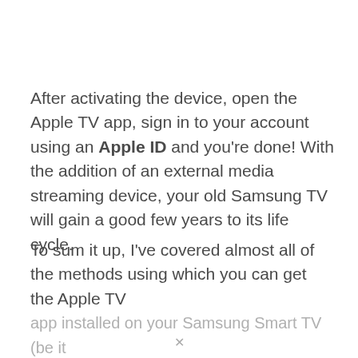After activating the device, open the Apple TV app, sign in to your account using an Apple ID and you're done! With the addition of an external media streaming device, your old Samsung TV will gain a good few years to its life cycle.
To sum it up, I've covered almost all of the methods using which you can get the Apple TV app installed on your Samsung Smart TV (be it...